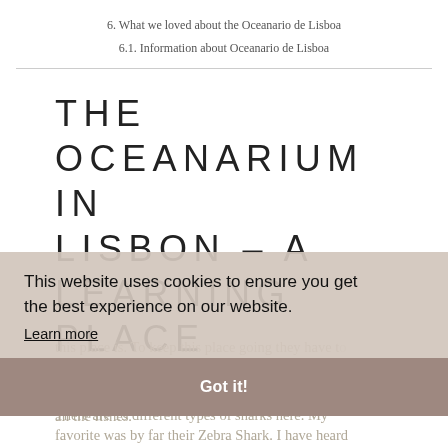6. What we loved about the Oceanario de Lisboa
6.1. Information about Oceanario de Lisboa
THE OCEANARIUM IN LISBON – A LEARNING PLACE
Having 7 500 000 liters of water shows how huge this place is. To keep this place going they have to take care of a great amount of daily activities. We saw special slides that work there just to prepare the food for all the fishes.
This website uses cookies to ensure you get the best experience on our website.
Learn more
Got it!
There are 15 different types of sharks here. My favorite was by far their Zebra Shark. I have heard
favorite was by far their Zebra Shark. I have heard